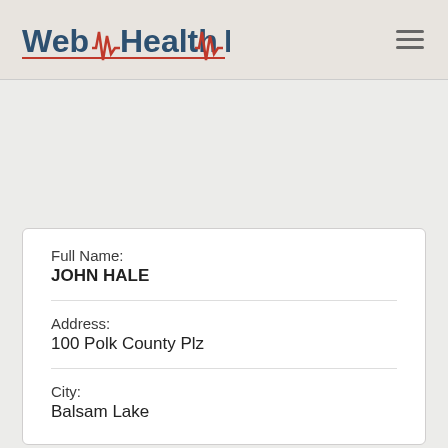Web Health Network
Full Name:
JOHN HALE
Address:
100 Polk County Plz
City:
Balsam Lake